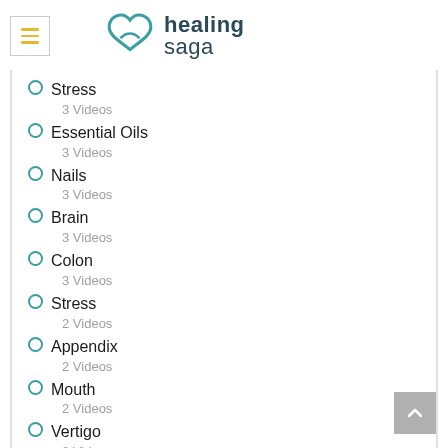healing saga
Stress
3 Videos
Essential Oils
3 Videos
Nails
3 Videos
Brain
3 Videos
Colon
3 Videos
Stress
2 Videos
Appendix
2 Videos
Mouth
2 Videos
Vertigo
2 Videos
Opinion (partial)